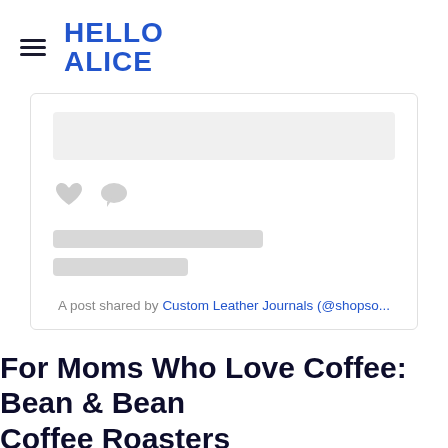HELLO ALICE
[Figure (screenshot): Embedded social media post card with skeleton loading placeholders (two gray skeleton lines) and two social icons (heart and comment bubble). Caption reads: A post shared by Custom Leather Journals (@shopso...]
A post shared by Custom Leather Journals (@shopso...
For Moms Who Love Coffee: Bean & Bean Coffee Roasters
Bean & Bean Coffee Roasters offers organic and fair trade certified coffee from around the world, curated by moth...